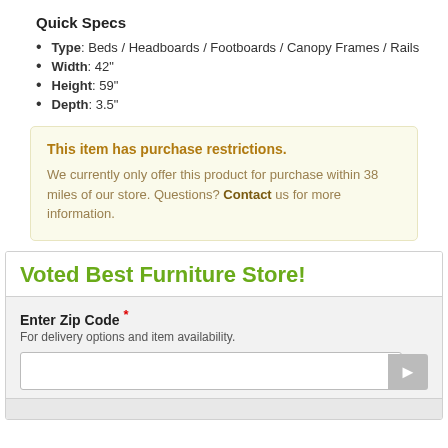Quick Specs
Type: Beds / Headboards / Footboards / Canopy Frames / Rails
Width: 42"
Height: 59"
Depth: 3.5"
This item has purchase restrictions.
We currently only offer this product for purchase within 38 miles of our store. Questions? Contact us for more information.
Voted Best Furniture Store!
Enter Zip Code *
For delivery options and item availability.